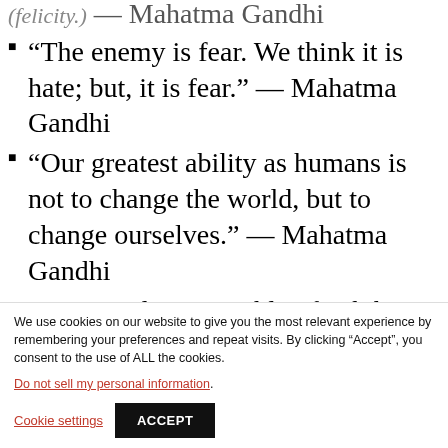“The enemy is fear. We think it is hate; but, it is fear.” — Mahatma Gandhi
“Our greatest ability as humans is not to change the world, but to change ourselves.” — Mahatma Gandhi
“A coward is incapable of exhibiting love; it is the prerogative of the brave.” — Mahatma Gandhi
We use cookies on our website to give you the most relevant experience by remembering your preferences and repeat visits. By clicking “Accept”, you consent to the use of ALL the cookies.
Do not sell my personal information.
Cookie settings  ACCEPT